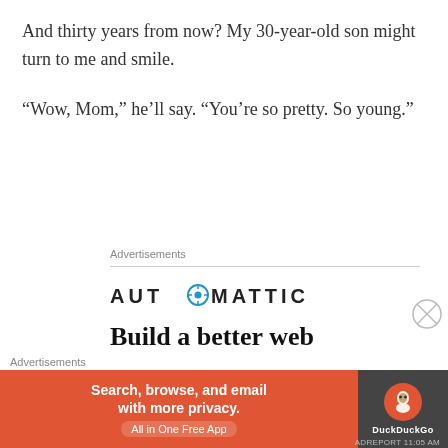And thirty years from now? My 30-year-old son might turn to me and smile.
“Wow, Mom,” he’ll say. “You’re so pretty. So young.”
Advertisements
[Figure (logo): Automattic logo with stylized O containing a target/crosshair icon]
Build a better web and a better world.
Advertisements
[Figure (infographic): DuckDuckGo advertisement banner: Search, browse, and email with more privacy. All in One Free App. Orange background on left, dark background with DuckDuckGo logo on right.]